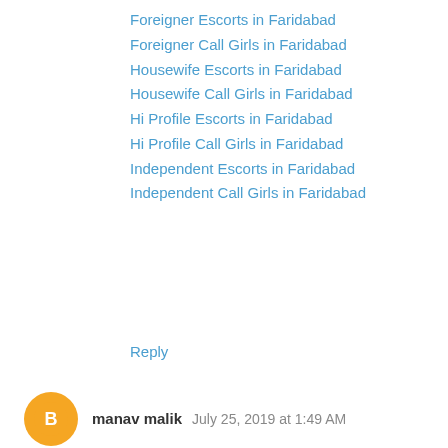Foreigner Escorts in Faridabad
Foreigner Call Girls in Faridabad
Housewife Escorts in Faridabad
Housewife Call Girls in Faridabad
Hi Profile Escorts in Faridabad
Hi Profile Call Girls in Faridabad
Independent Escorts in Faridabad
Independent Call Girls in Faridabad
Reply
manav malik   July 25, 2019 at 1:49 AM
Escorts Service in Delhi
Call Girls in Delhi
Russian Escorts in Delhi
Russian Call Girls in Delhi
Foreigner Escorts in Delhi
Foreigner Call Girls in Delhi
Housewife Escorts in Delhi